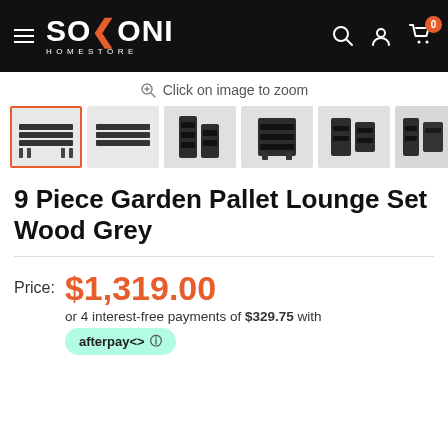[Figure (screenshot): Sokoni Homestore website header with hamburger menu, logo, search, account, and cart icons on black background]
Click on image to zoom
[Figure (photo): Product image thumbnails strip showing 9 Piece Garden Pallet Lounge Set Wood Grey from multiple angles]
9 Piece Garden Pallet Lounge Set Wood Grey
Price: $1,319.00
or 4 interest-free payments of $329.75 with afterpay